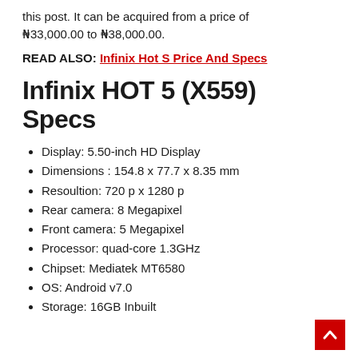this post. It can be acquired from a price of ₦33,000.00 to ₦38,000.00.
READ ALSO: Infinix Hot S Price And Specs
Infinix HOT 5 (X559) Specs
Display: 5.50-inch HD Display
Dimensions : 154.8 x 77.7 x 8.35 mm
Resoultion:  720 p x 1280 p
Rear camera: 8 Megapixel
Front camera: 5 Megapixel
Processor:  quad-core 1.3GHz
Chipset:  Mediatek MT6580
OS: Android v7.0
Storage: 16GB Inbuilt